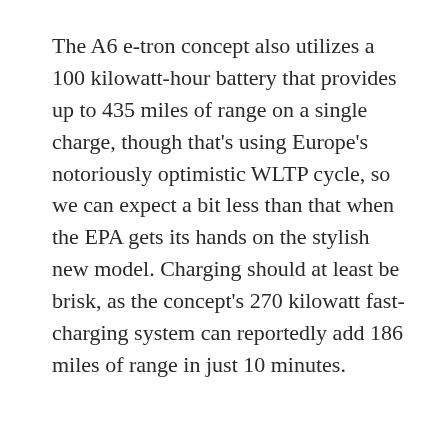The A6 e-tron concept also utilizes a 100 kilowatt-hour battery that provides up to 435 miles of range on a single charge, though that's using Europe's notoriously optimistic WLTP cycle, so we can expect a bit less than that when the EPA gets its hands on the stylish new model. Charging should at least be brisk, as the concept's 270 kilowatt fast-charging system can reportedly add 186 miles of range in just 10 minutes.